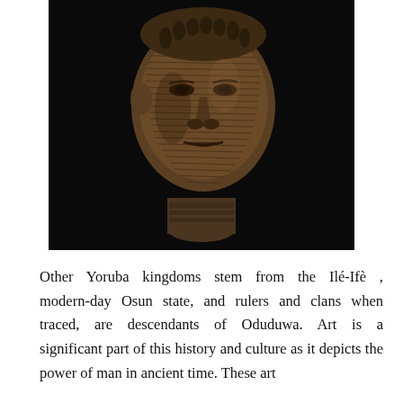[Figure (photo): A bronze or terracotta sculptural head from Ile-Ife (Yoruba), showing a human face with fine parallel linear striations/ridges covering the face and head, photographed against a dark/black background.]
Other Yoruba kingdoms stem from the Ilé-Ifè , modern-day Osun state, and rulers and clans when traced, are descendants of Oduduwa. Art is a significant part of this history and culture as it depicts the power of man in ancient time. These art